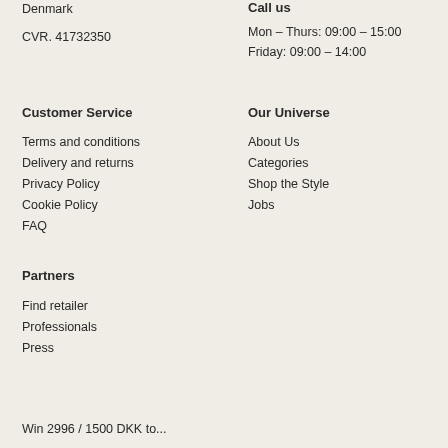Denmark
CVR. 41732350
Call us
Mon – Thurs: 09:00 – 15:00
Friday: 09:00 – 14:00
Customer Service
Terms and conditions
Delivery and returns
Privacy Policy
Cookie Policy
FAQ
Our Universe
About Us
Categories
Shop the Style
Jobs
Partners
Find retailer
Professionals
Press
Win 2996 / 1500 DKK to...